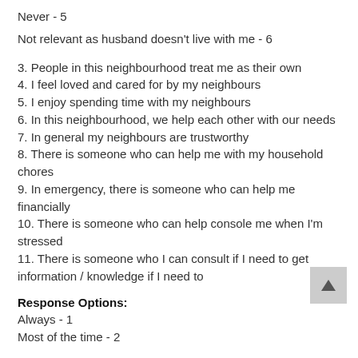Never - 5
Not relevant as husband doesn't live with me - 6
3. People in this neighbourhood treat me as their own
4. I feel loved and cared for by my neighbours
5. I enjoy spending time with my neighbours
6. In this neighbourhood, we help each other with our needs
7. In general my neighbours are trustworthy
8. There is someone who can help me with my household chores
9. In emergency, there is someone who can help me financially
10. There is someone who can help console me when I'm stressed
11. There is someone who I can consult if I need to get information / knowledge if I need to
Response Options:
Always - 1
Most of the time - 2